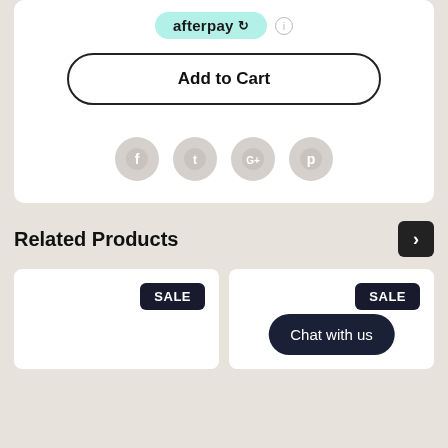[Figure (screenshot): Afterpay logo badge in mint green with arrow icon]
Add to Cart
[Figure (infographic): Four social media icons: Facebook, Twitter, Google+, Pinterest — shown as grey circles]
Related Products
[Figure (screenshot): Two product cards with SALE badges. Right card also shows a 'Chat with us' button overlay.]